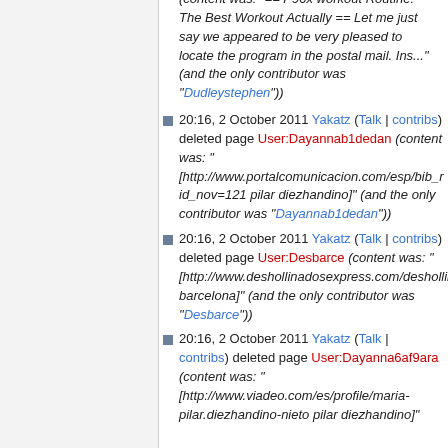(content was: "== P90x workout Routine: The Best Workout Actually == Let me just say we appeared to be very pleased to locate the program in the postal mail. Ins..." (and the only contributor was "Dudleystephen"))
20:16, 2 October 2011 Yakatz (Talk | contribs) deleted page User:Dayannab1dedan (content was: "[http://www.portalcomunicacion.com/esp/bib_r id_nov=121 pilar diezhandino]" (and the only contributor was "Dayannab1dedan"))
20:16, 2 October 2011 Yakatz (Talk | contribs) deleted page User:Desbarce (content was: "[http://www.deshollinadosexpress.com/deshollinador barcelona]" (and the only contributor was "Desbarce"))
20:16, 2 October 2011 Yakatz (Talk | contribs) deleted page User:Dayanna6af9ara (content was: "[http://www.viadeo.com/es/profile/maria-pilar.diezhandino-nieto pilar diezhandino]"